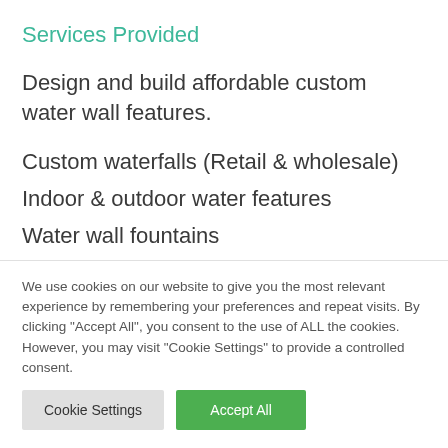Services Provided
Design and build affordable custom water wall features.
Custom waterfalls (Retail & wholesale)
Indoor & outdoor water features
Water wall fountains
Custom fountains
We use cookies on our website to give you the most relevant experience by remembering your preferences and repeat visits. By clicking "Accept All", you consent to the use of ALL the cookies. However, you may visit "Cookie Settings" to provide a controlled consent.
Cookie Settings | Accept All